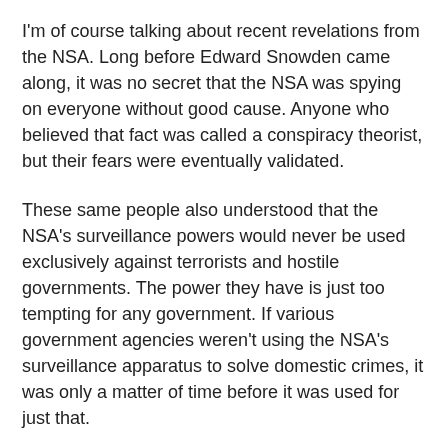I'm of course talking about recent revelations from the NSA. Long before Edward Snowden came along, it was no secret that the NSA was spying on everyone without good cause. Anyone who believed that fact was called a conspiracy theorist, but their fears were eventually validated.
These same people also understood that the NSA's surveillance powers would never be used exclusively against terrorists and hostile governments. The power they have is just too tempting for any government. If various government agencies weren't using the NSA's surveillance apparatus to solve domestic crimes, it was only a matter of time before it was used for just that.
And again, they called us conspiracy theorists for believing that. And again, we were right all long.
““  A while back, we noted a report showing that